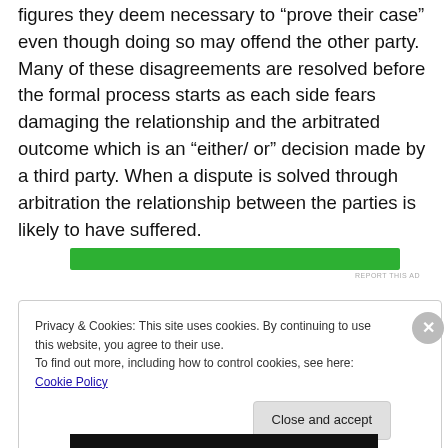figures they deem necessary to “prove their case” even though doing so may offend the other party. Many of these disagreements are resolved before the formal process starts as each side fears damaging the relationship and the arbitrated outcome which is an “either/ or” decision made by a third party. When a dispute is solved through arbitration the relationship between the parties is likely to have suffered.
[Figure (other): Green advertisement banner bar]
Privacy & Cookies: This site uses cookies. By continuing to use this website, you agree to their use.
To find out more, including how to control cookies, see here: Cookie Policy